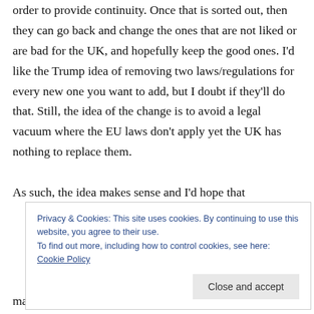order to provide continuity. Once that is sorted out, then they can go back and change the ones that are not liked or are bad for the UK, and hopefully keep the good ones. I'd like the Trump idea of removing two laws/regulations for every new one you want to add, but I doubt if they'll do that. Still, the idea of the change is to avoid a legal vacuum where the EU laws don't apply yet the UK has nothing to replace them.
As such, the idea makes sense and I'd hope that
Privacy & Cookies: This site uses cookies. By continuing to use this website, you agree to their use.
To find out more, including how to control cookies, see here: Cookie Policy
Close and accept
make the negotiations impossible unless they